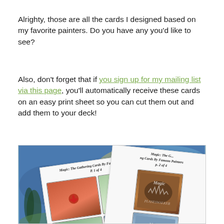Alrighty, those are all the cards I designed based on my favorite painters. Do you have any you'd like to see?
Also, don't forget that if you sign up for my mailing list via this page, you'll automatically receive these cards on an easy print sheet so you can cut them out and add them to your deck!
[Figure (photo): Photo showing Magic: The Gathering card print sheets laid on a Starry Night background. Two printed sheets are visible: one labeled 'Magic: The Gathering Cards By Famous Painters P. 1 of 4' and another labeled 'Mg Cards By Famous Painters p. 2 of 4', with custom Magic cards visible on the sheets.]